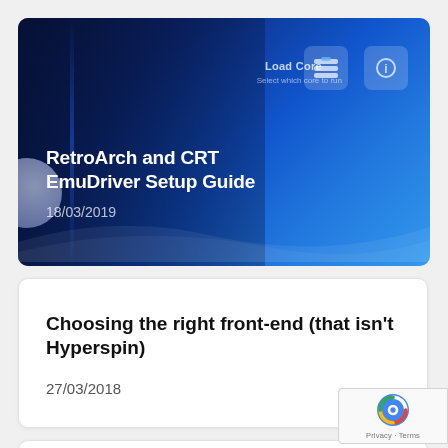[Figure (screenshot): RetroArch application screenshot showing blue UI with Load Core menu option and app icons, used as article thumbnail]
RetroArch and CRT EmuDriver Setup Guide
18/03/2019
Choosing the right front-end (that isn't Hyperspin)
27/03/2018
How to set up DEMUL properly: Part